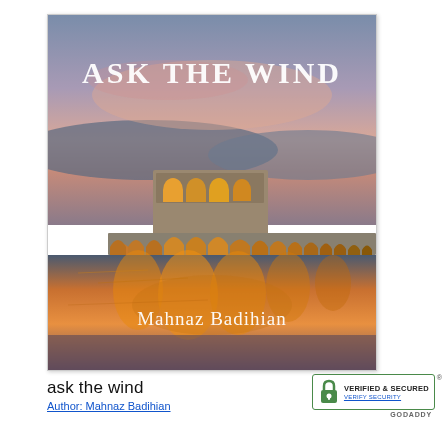[Figure (illustration): Book cover of 'Ask the Wind' by Mahnaz Badihian. Features a photograph of an illuminated Persian bridge (Khaju Bridge, Isfahan) at dusk reflected in water, with warm orange and yellow glowing arches against a blue-grey and pink sky. The title 'ASK THE WIND' appears in large white serif text at the top, and the author name 'Mahnaz Badihian' in white serif text near the bottom.]
ask the wind
Author: Mahnaz Badihian
[Figure (logo): GoDaddy Verified & Secured badge. Green bordered box containing a padlock icon and text 'VERIFIED & SECURED' with 'VERIFY SECURITY' link below, and 'GODADDY' label above with registered trademark symbol.]